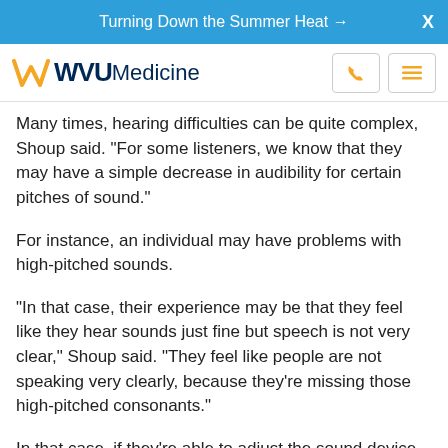Turning Down the Summer Heat →
[Figure (logo): WVU Medicine logo with phone and menu icons]
Many times, hearing difficulties can be quite complex, Shoup said. "For some listeners, we know that they may have a simple decrease in audibility for certain pitches of sound."
For instance, an individual may have problems with high-pitched sounds.
"In that case, their experience may be that they feel like they hear sounds just fine but speech is not very clear," Shoup said. "They feel like people are not speaking very clearly, because they're missing those high-pitched consonants."
In that case, if they're able to adjust the sound device appropriately, they may do all right, she said.
But the ear itself is only part of the issue, Shoup added.
The brain has its own process of interpreting signals from the